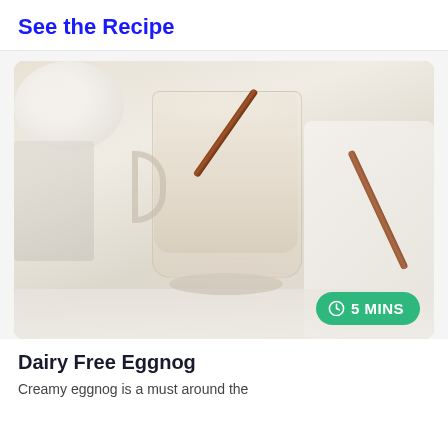See the Recipe
[Figure (photo): A glass mug filled with creamy eggnog, topped with foam and garnished with a cinnamon stick. Background shows a white cloth, another cinnamon stick, and a white bowl/egg. Scene is bright and airy.]
5 MINS
Dairy Free Eggnog
Creamy eggnog is a must around the